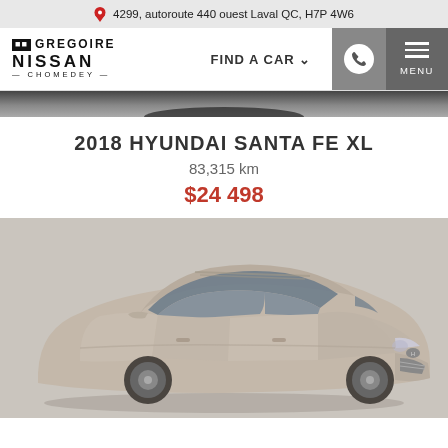4299, autoroute 440 ouest Laval QC, H7P 4W6
[Figure (logo): Gregoire Nissan Chomedey dealership logo and navigation bar with FIND A CAR menu, phone button, and MENU button]
[Figure (photo): Top portion of a vehicle hero image strip, dark background]
2018 HYUNDAI SANTA FE XL
83,315 km
$24 498
[Figure (photo): 2018 Hyundai Santa Fe XL SUV in silver/tan color, three-quarter front view on light grey background]